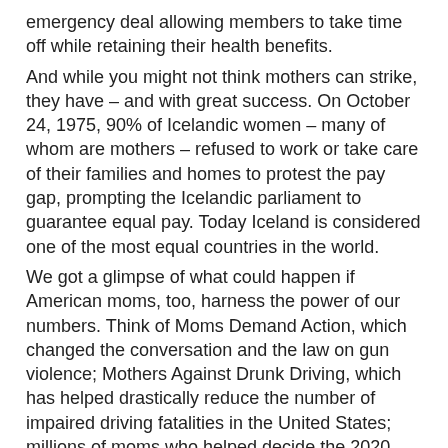emergency deal allowing members to take time off while retaining their health benefits.
And while you might not think mothers can strike, they have – and with great success. On October 24, 1975, 90% of Icelandic women – many of whom are mothers – refused to work or take care of their families and homes to protest the pay gap, prompting the Icelandic parliament to guarantee equal pay. Today Iceland is considered one of the most equal countries in the world.
We got a glimpse of what could happen if American moms, too, harness the power of our numbers. Think of Moms Demand Action, which changed the conversation and the law on gun violence; Mothers Against Drunk Driving, which has helped drastically reduce the number of impaired driving fatalities in the United States; millions of moms who helped decide the 2020 elections in support of those who support us.
Moms need to be clear about this call to action: like teachers, drivers and service workers who are the backbone of our country's economy and society, we can also be told that “we have chosen this role ”- and therefore have no right to complain. It's an argument that